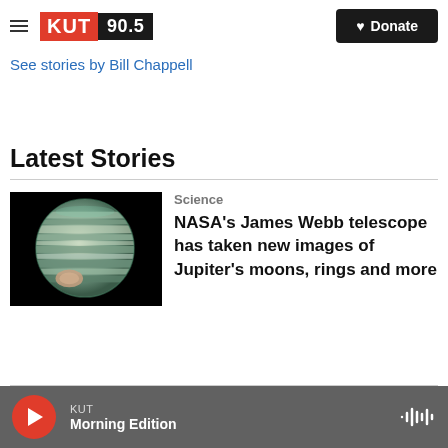KUT 90.5 | Donate
See stories by Bill Chappell
Latest Stories
[Figure (photo): Image of Jupiter showing banded atmosphere and Great Red Spot, taken by NASA's James Webb telescope]
Science
NASA's James Webb telescope has taken new images of Jupiter's moons, rings and more
KUT Morning Edition